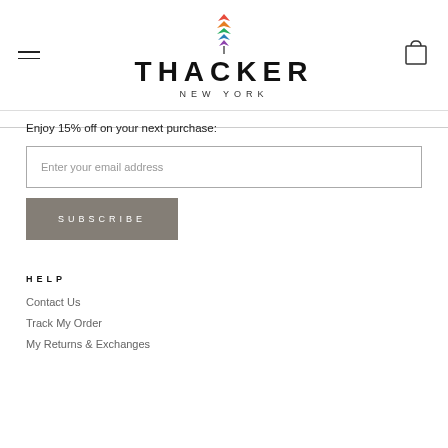[Figure (logo): Thacker New York logo with colorful stacked arrow/feather icon above the text THACKER NEW YORK]
Enjoy 15% off on your next purchase:
Enter your email address
SUBSCRIBE
HELP
Contact Us
Track My Order
My Returns & Exchanges